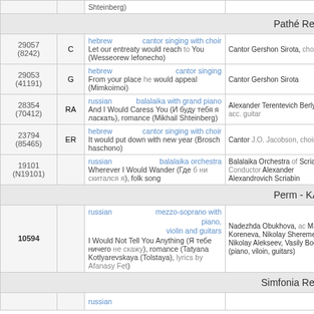| ID | Letter | Description | Artist |
| --- | --- | --- | --- |
|  |  | Shteinberg) |  |
| Pathé Record |  |  |  |
| 29057
(8242) | C | hebrew / cantor singing with choir
Let our entreaty would reach to You (Wesseorew lefonecho) | Cantor Gershon Sirota, choir |
| 29053
(41191) | G | hebrew / cantor singing
From your place he would appeal (Mimkoimoi) | Cantor Gershon Sirota |
| 28354
(70412) | RA | russian / balalaika with grand piano
And I Would Caress You (И буду тебя я ласкать), romance (Mikhail Shteinberg) | Alexander Terentevich Berlyavsky, acc. guitar |
| 23794
(85465) | ER | hebrew / cantor singing with choir
It would put down with new year (Brosch haschono) | Cantor J.O. Jacobson, choir |
| 19101
(N19101) |  | russian / balalaika orchestra
Wherever I Would Wander (Где б ни скитался я), folk song | Balalaika Orchestra of Scriabin, Conductor Alexander Alexandrovich Scriabin |
| Perm - KAMA |  |  |  |
| 10594 |  | russian / mezzo-soprano with piano, violin and guitars
I Would Not Tell You Anything (Я тебе ничего не скажу), romance (Tatyana Kotlyarevskaya (Tolstaya), lyrics by Afanasy Fet) | Nadezhda Obukhova, Maria Koreneva, Nikolay Sheremetyev, Nikolay Alekseev, Vasily Bochko (piano, viloin, guitars) |
| Simfonia Record |  |  |  |
|  |  | russian |  |